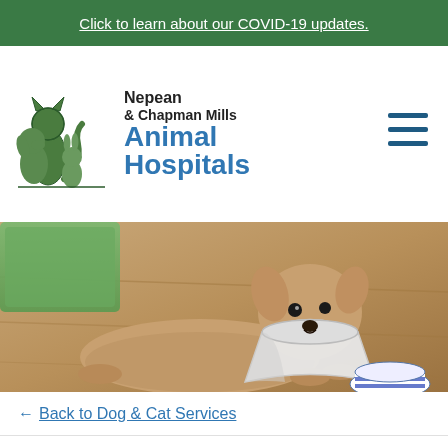Click to learn about our COVID-19 updates.
[Figure (logo): Nepean & Chapman Mills Animal Hospitals logo with green silhouette of cat, dog, and rabbit animals, and blue text reading 'Animal Hospitals']
[Figure (photo): Chihuahua dog lying on wooden floor wearing a white medical cone collar, with green towel and striped object in background]
← Back to Dog & Cat Services
Urgent Care for Pets